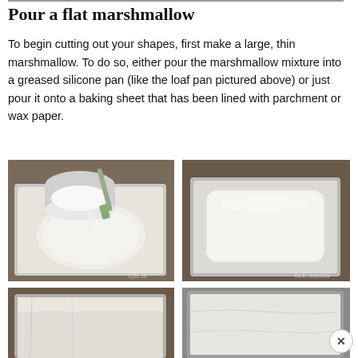Pour a flat marshmallow
To begin cutting out your shapes, first make a large, thin marshmallow. To do so, either pour the marshmallow mixture into a greased silicone pan (like the loaf pan pictured above) or just pour it onto a baking sheet that has been lined with parchment or wax paper.
[Figure (photo): Marshmallow mixture being poured from a bowl into a parchment-lined silver pan, with a green silicone spatula visible.]
[Figure (photo): A set white/pale marshmallow slab in a parchment-lined silver pan on a dark wooden surface.]
[Figure (photo): Top portion of a baking pan with white parchment paper, partially cut off at bottom of page.]
[Figure (photo): Top portion of a baking pan with white parchment/wax paper lining, partially cut off at bottom of page.]